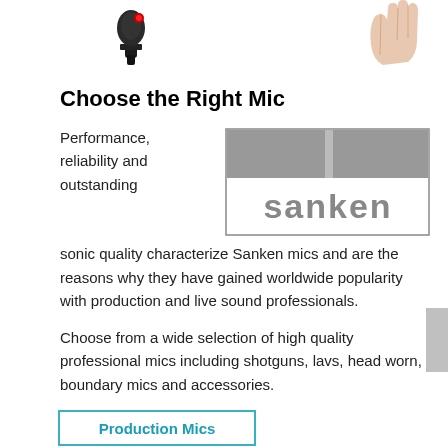[Figure (photo): Two product images at top: a handheld microphone with red accent on the left, and a hand/fingers on the right]
Choose the Right Mic
Performance, reliability and outstanding sonic quality characterize Sanken mics and are the reasons why they have gained worldwide popularity with production and live sound professionals.
[Figure (logo): Sanken logo — gray rectangular logo with the word 'sanken' in lowercase and a vertical bar divider]
Choose from a wide selection of high quality professional mics including shotguns, lavs, head worn, boundary mics and accessories.
Production Mics